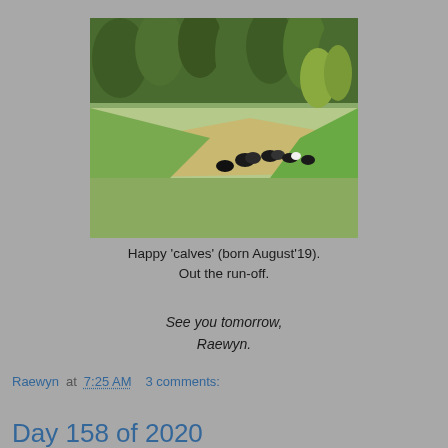[Figure (photo): Photo of cattle grazing in a green pasture with a forested hillside in the background. Several black cows or calves visible in the middle of the field.]
Happy 'calves' (born August'19).
Out the run-off.
See you tomorrow,
Raewyn.
Raewyn at 7:25 AM   3 comments:
Share
Day 158 of 2020